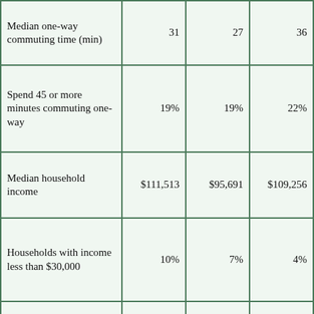| Median one-way commuting time (min) | 31 | 27 | 36 | 32 |
| Spend 45 or more minutes commuting one-way | 19% | 19% | 22% | 20% |
| Median household income | $111,513 | $95,691 | $109,256 | ~$107,550 |
| Households with income less than $30,000 | 10% | 7% | 4% | 8% |
| Households with income greater than $100,000 | 60% | 59% | 62% | 60% |